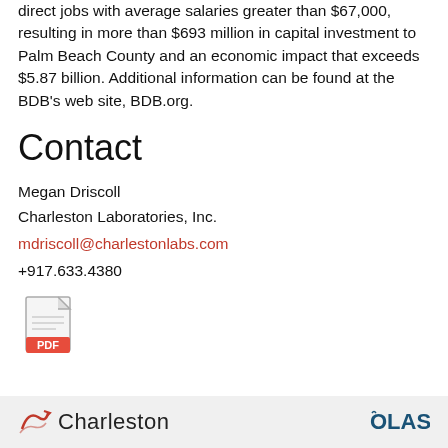direct jobs with average salaries greater than $67,000, resulting in more than $693 million in capital investment to Palm Beach County and an economic impact that exceeds $5.87 billion. Additional information can be found at the BDB's web site, BDB.org.
Contact
Megan Driscoll
Charleston Laboratories, Inc.
mdriscoll@charlestonlabs.com
+917.633.4380
[Figure (illustration): PDF file icon]
Charleston   OLAS